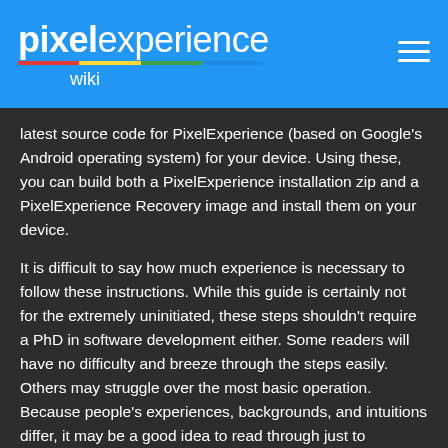pixelexperience wiki
latest source code for PixelExperience (based on Google's Android operating system) for your device. Using these, you can build both a PixelExperience installation zip and a PixelExperience Recovery image and install them on your device.
It is difficult to say how much experience is necessary to follow these instructions. While this guide is certainly not for the extremely uninitiated, these steps shouldn't require a PhD in software development either. Some readers will have no difficulty and breeze through the steps easily. Others may struggle over the most basic operation. Because people's experiences, backgrounds, and intuitions differ, it may be a good idea to read through just to ascertain whether you feel comfortable or are getting over your head.